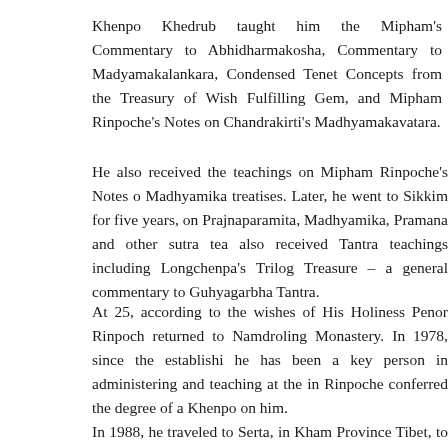Khenpo Khedrub taught him the Mipham's Commentary to Abhidharmakosha, Commentary to Madyamakalankara, Condensed Tenet Concepts from the Treasury of Wish Fulfilling Gem, and Mipham Rinpoche's Notes on Chandrakirti's Madhyamakavatara.
He also received the teachings on Mipham Rinpoche's Notes on Madhyamika treatises. Later, he went to Sikkim for five years, on Prajnaparamita, Madhyamika, Pramana and other sutra teachings. He also received Tantra teachings including Longchenpa's Trilogy and Treasure – a general commentary to Guhyagarbha Tantra.
At 25, according to the wishes of His Holiness Penor Rinpoche, he returned to Namdroling Monastery. In 1978, since the establishment, he has been a key person in administering and teaching at the institute. Rinpoche conferred the degree of a Khenpo on him.
In 1988, he traveled to Serta, in Kham Province Tibet, to re...